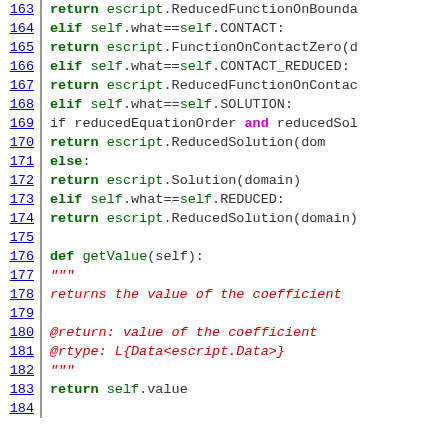[Figure (screenshot): Python source code listing with line numbers 163-184. Shows code for elif branches handling CONTACT, CONTACT_REDUCED, SOLUTION, REDUCED cases, and a getValue method with docstring returning self.value.]